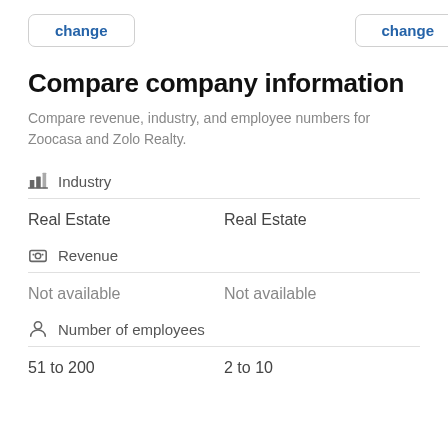change   change
Compare company information
Compare revenue, industry, and employee numbers for Zoocasa and Zolo Realty.
Industry
Real Estate   Real Estate
Revenue
Not available   Not available
Number of employees
51 to 200   2 to 10